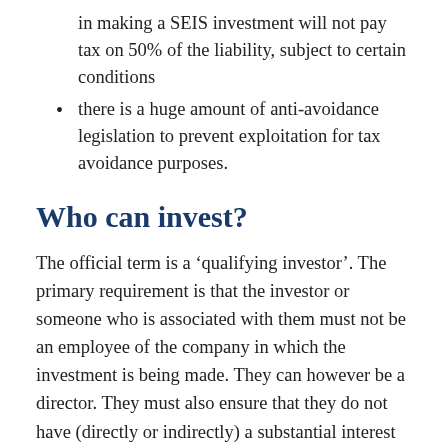in making a SEIS investment will not pay tax on 50% of the liability, subject to certain conditions
there is a huge amount of anti-avoidance legislation to prevent exploitation for tax avoidance purposes.
Who can invest?
The official term is a ‘qualifying investor’. The primary requirement is that the investor or someone who is associated with them must not be an employee of the company in which the investment is being made. They can however be a director. They must also ensure that they do not have (directly or indirectly) a substantial interest in the company. This is defined by reference to holding more than 30% of any of the following (in either the